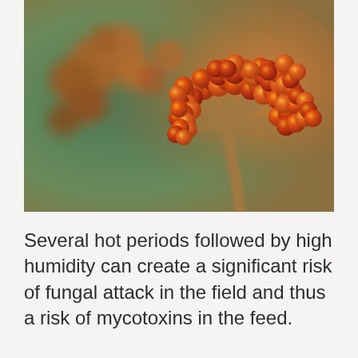[Figure (photo): Macro/microscopic illustration of a fungal spore structure (Aspergillus or similar), showing orange-red spherical conidia (spores) clustered on branching conidiophore stalks, against a blurred green and orange background.]
Several hot periods followed by high humidity can create a significant risk of fungal attack in the field and thus a risk of mycotoxins in the feed.